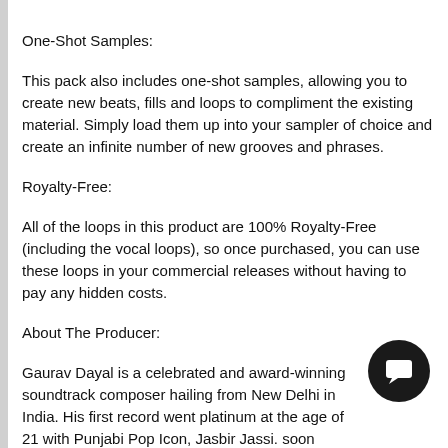One-Shot Samples:
This pack also includes one-shot samples, allowing you to create new beats, fills and loops to compliment the existing material. Simply load them up into your sampler of choice and create an infinite number of new grooves and phrases.
Royalty-Free:
All of the loops in this product are 100% Royalty-Free (including the vocal loops), so once purchased, you can use these loops in your commercial releases without having to pay any hidden costs.
About The Producer:
Gaurav Dayal is a celebrated and award-winning soundtrack composer hailing from New Delhi in India. His first record went platinum at the age of 21 with Punjabi Pop Icon, Jasbir Jassi. soon followed this with hits like "Gabru" for Mika and many He worked on Shakira's "She Wolf" album in 2009, with Wycle and Gaurav continues to collaborate with pop music artists and producers